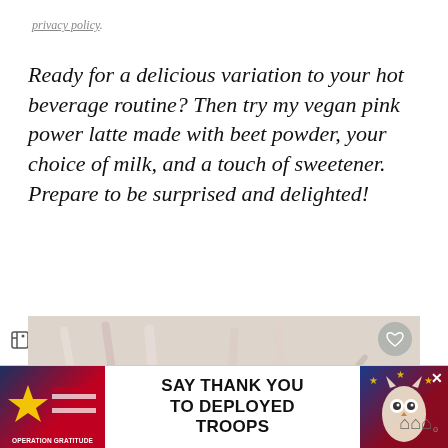privacy policy.
Ready for a delicious variation to your hot beverage routine? Then try my vegan pink power latte made with beet powder, your choice of milk, and a touch of sweetener. Prepare to be surprised and delighted!
[Figure (photo): Photo of a pink latte in a glass with striped straws in background, with social share buttons overlay, heart button, and 'What's Next: Vegan Carrot Ginger Souff...' panel]
[Figure (infographic): Operation Gratitude advertisement banner: SAY THANK YOU TO DEPLOYED TROOPS]